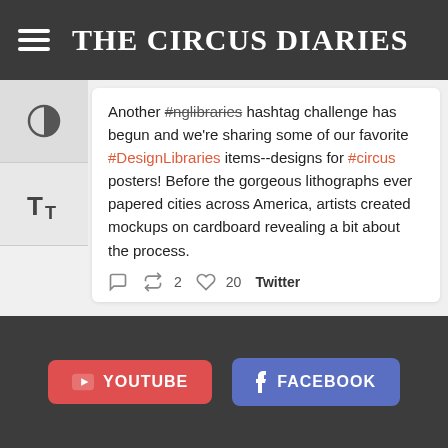THE CIRCUS DIARIES
Another #nglibraries hashtag challenge has begun and we're sharing some of our favorite #DesignLibraries items--designs for #circus posters! Before the gorgeous lithographs ever papered cities across America, artists created mockups on cardboard revealing a bit about the process.
2  20  Twitter
Load More
YOUTUBE  FACEBOOK